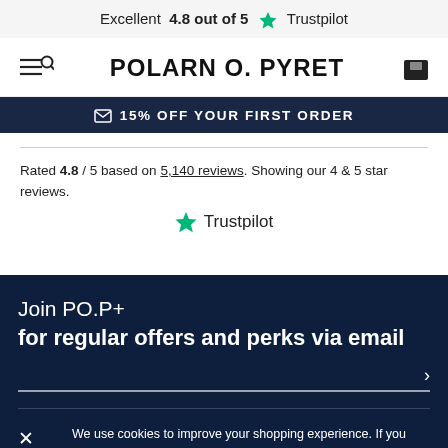Excellent 4.8 out of 5 ★ Trustpilot
POLARN O. PYRET
✉ 15% OFF YOUR FIRST ORDER
Rated 4.8 / 5 based on 5,140 reviews. Showing our 4 & 5 star reviews. ★ Trustpilot
Join PO.P+
for regular offers and perks via email
We use cookies to improve your shopping experience. If you continue browsing you are deemed to have accepted our cookie policy